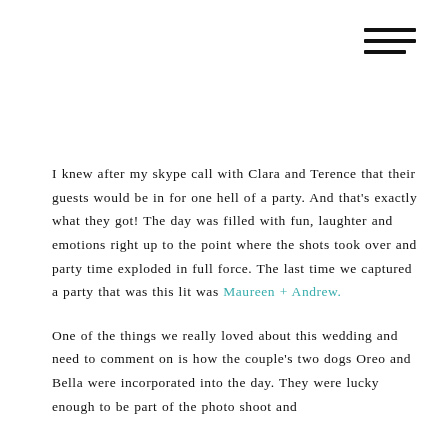[Figure (other): Hamburger menu icon with three horizontal lines (top two full width, bottom line shorter)]
I knew after my skype call with Clara and Terence that their guests would be in for one hell of a party. And that's exactly what they got! The day was filled with fun, laughter and emotions right up to the point where the shots took over and party time exploded in full force. The last time we captured a party that was this lit was Maureen + Andrew.
One of the things we really loved about this wedding and need to comment on is how the couple's two dogs Oreo and Bella were incorporated into the day. They were lucky enough to be part of the photo shoot and